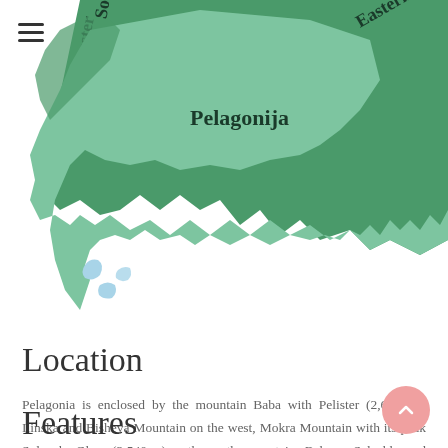[Figure (map): Map showing the Pelagonija (Pelagonia) statistical region of North Macedonia, colored in light green/teal, surrounded by other regions in darker green. Region labels visible include Southwest, Pelagonija, and Eastern (partially). Small blue water bodies visible in the lower-left area of the map.]
Location
Pelagonia is enclosed by the mountain Baba with Pelister (2,601 m), Ilinska and Bisheva Mountain on the west, Mokra Mountain with its peak Solunska Glava (2,540 m) on the north, mountains Babuna, Selechka and Dren on the east, Nidzhe with Kajmakchalan (2,520 m) and state border with Greece in Pelagonia Plain on the south.
Features